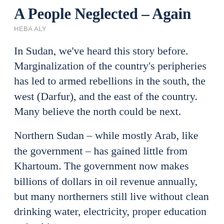A People Neglected – Again
HEBA ALY
In Sudan, we've heard this story before. Marginalization of the country's peripheries has led to armed rebellions in the south, the west (Darfur), and the east of the country. Many believe the north could be next.
Northern Sudan – while mostly Arab, like the government – has gained little from Khartoum. The government now makes billions of dollars in oil revenue annually, but many northerners still live without clean drinking water, electricity, proper education or health care.